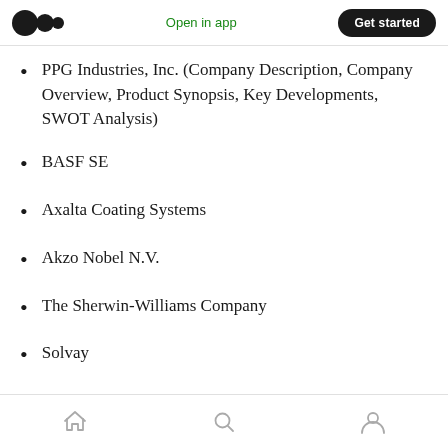Open in app | Get started
PPG Industries, Inc. (Company Description, Company Overview, Product Synopsis, Key Developments, SWOT Analysis)
BASF SE
Axalta Coating Systems
Akzo Nobel N.V.
The Sherwin-Williams Company
Solvay
Home | Search | Profile